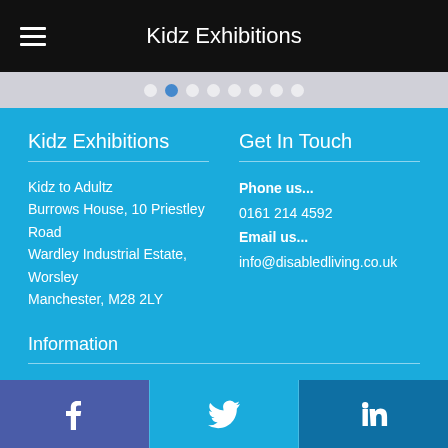Kidz Exhibitions
Kidz Exhibitions
Kidz to Adultz
Burrows House, 10 Priestley Road
Wardley Industrial Estate, Worsley
Manchester, M28 2LY
Get In Touch
Phone us...
0161 214 4592
Email us...
info@disabledliving.co.uk
Information
Website Map
Privacy Policy
Terms & Conditions
Facebook  Twitter  LinkedIn